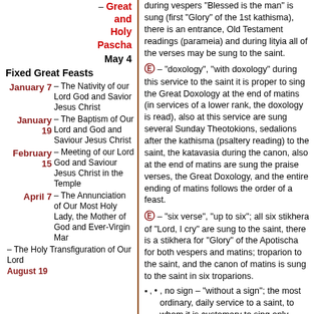– Great and Holy Pascha
May 4
Fixed Great Feasts
January 7 – The Nativity of our Lord God and Savior Jesus Christ
January 19 – The Baptism of Our Lord and God and Saviour Jesus Christ
February 15 – Meeting of our Lord God and Saviour Jesus Christ in the Temple
April 7 – The Annunciation of Our Most Holy Lady, the Mother of God and Ever-Virgin Mar
– The Holy Transfiguration of Our Lord
during vespers "Blessed is the man" is sung (first "Glory" of the 1st kathisma), there is an entrance, Old Testament readings (parameia) and during lityia all of the verses may be sung to the saint.
Ⓔ – "doxology", "with doxology" during this service to the saint it is proper to sing the Great Doxology at the end of matins (in services of a lower rank, the doxology is read), also at this service are sung several Sunday Theotokions, sedalions after the kathisma (psaltery reading) to the saint, the katavasia during the canon, also at the end of matins are sung the praise verses, the Great Doxology, and the entire ending of matins follows the order of a feast.
Ⓔ – "six verse", "up to six"; all six stikhera of "Lord, I cry" are sung to the saint, there is a stikhera for "Glory" of the Apotischa for both vespers and matins; troparion to the saint, and the canon of matins is sung to the saint in six troparions.
▪ , • , no sign – "without a sign"; the most ordinary, daily service to a saint, to whom it is customary to sing only three stikhera at "Lord I cry" and the canon of matins in four troparions. There may not be a troparion to the saint.